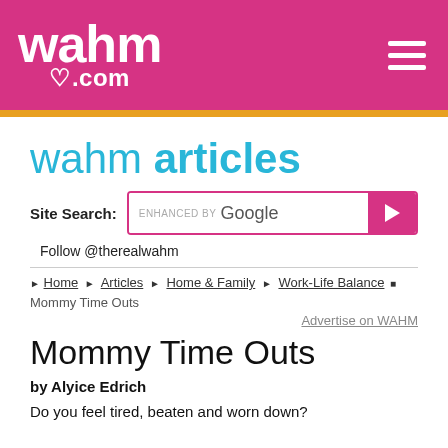WAHM.com
wahm articles
Site Search: enhanced by Google
Follow @therealwahm
Home ▶ Articles ▶ Home & Family ▶ Work-Life Balance ■ Mommy Time Outs
Advertise on WAHM
Mommy Time Outs
by Alyice Edrich
Do you feel tired, beaten and worn down?